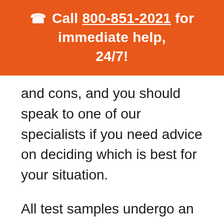📞 Call 800-851-2021 for immediate help, 24/7!
and cons, and you should speak to one of our specialists if you need advice on deciding which is best for your situation.
All test samples undergo an initial screening. The immunoassay (IA) test identifies a positive or negative res... The majority of drug tests are negative